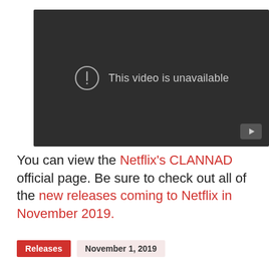[Figure (screenshot): YouTube embedded video player showing 'This video is unavailable' error message on a dark background with a YouTube logo button in the bottom right corner.]
You can view the Netflix's CLANNAD official page. Be sure to check out all of the new releases coming to Netflix in November 2019.
Releases   November 1, 2019